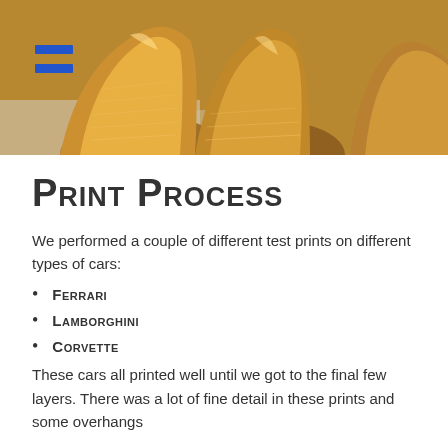[Figure (photo): A photograph of orange/amber colored 3D printed car parts, appearing to be curved automotive body components printed with layered filament, sitting on a surface. A blue hamburger/menu icon is visible in the upper left corner of the image.]
Print Process
We performed a couple of different test prints on different types of cars:
Ferrari
Lamborghini
Corvette
These cars all printed well until we got to the final few layers. There was a lot of fine detail in these prints and some overhangs